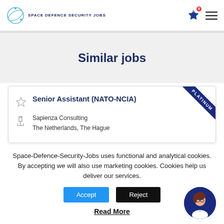SPACE DEFENCE SECURITY JOBS
Similar jobs
Senior Assistant (NATO-NCIA)
Sapienza Consulting
The Netherlands, The Hague
Space-Defence-Security-Jobs uses functional and analytical cookies. By accepting we will also use marketing cookies. Cookies help us deliver our services.
Accept  Reject
Read More